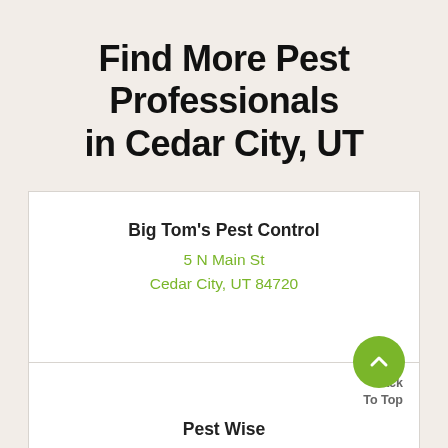Find More Pest Professionals in Cedar City, UT
Big Tom's Pest Control
5 N Main St
Cedar City, UT 84720
Back To Top
Pest Wise
1001 S Main St
Cedar City, UT 84720